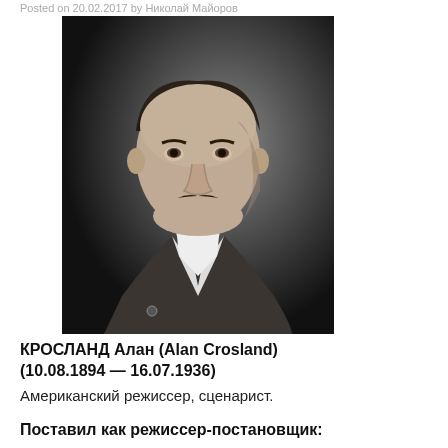Posted on 20.02.2017 by Николай Майоров
[Figure (photo): Black and white portrait photograph of Alan Crosland, a man with slicked back hair and a mustache, wearing a collared jacket, photographed from the chest up in a three-quarter pose.]
КРОСЛАНД Алан (Alan Crosland)
(10.08.1894 — 16.07.1936)
Американский режиссер, сценарист.
Поставил как режиссер-постановщик: